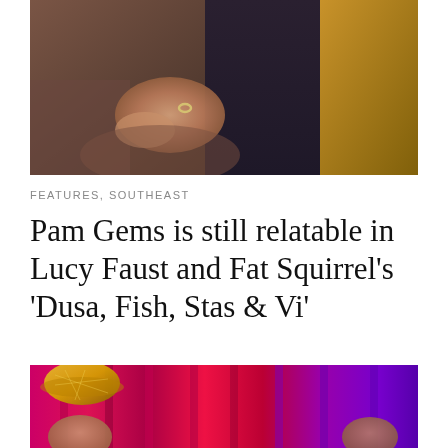[Figure (photo): Close-up photo of hands resting on knees, showing a person wearing a ring, with dark and mustard-colored clothing visible in the background]
FEATURES, SOUTHEAST
Pam Gems is still relatable in Lucy Faust and Fat Squirrel’s ‘Dusa, Fish, Stas & Vi’
[Figure (photo): Theater performance photo showing performers on stage with vibrant pink, red, and purple curtain backdrop; one performer wears a decorative hat]